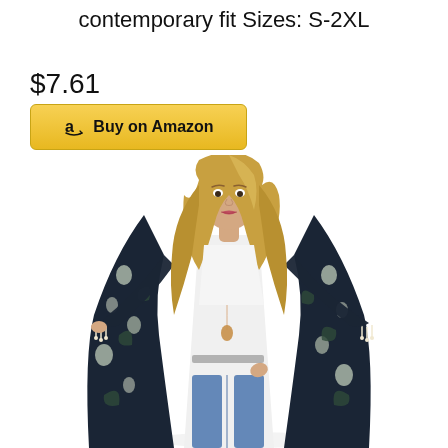contemporary fit Sizes: S-2XL
$7.61
Buy on Amazon
[Figure (photo): Woman wearing a dark floral print kimono cardigan over a white top and jeans, with tassels at the sleeves and a long pendant necklace.]